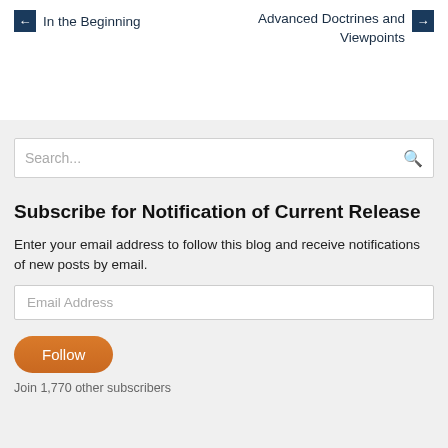← In the Beginning    Advanced Doctrines and Viewpoints →
Subscribe for Notification of Current Release
Enter your email address to follow this blog and receive notifications of new posts by email.
Email Address
Follow
Join 1,770 other subscribers